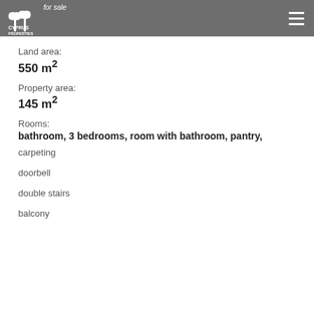for sale — Cyprus Properties
Land area:
550 m²
Property area:
145 m²
Rooms:
bathroom, 3 bedrooms, room with bathroom, pantry,
carpeting
doorbell
double stairs
balcony